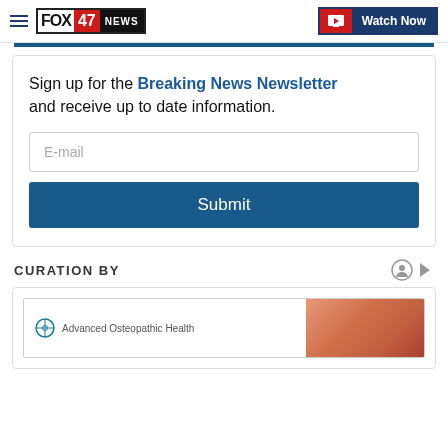FOX 47 NEWS | Watch Now
Sign up for the Breaking News Newsletter and receive up to date information.
E-mail
Submit
CURATION BY
[Figure (other): Advanced Osteopathic Health advertisement with brand logo and a photo of a person holding their shoulder/arm area]